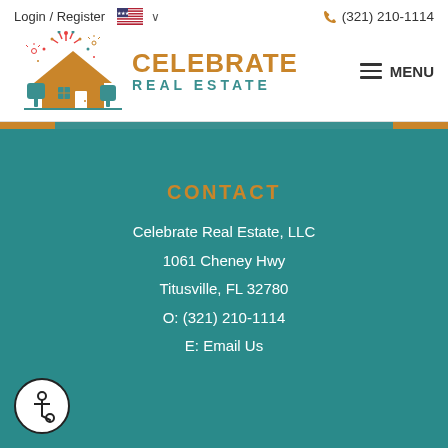Login / Register   🇺🇸 ∨          (321) 210-1114
[Figure (logo): Celebrate Real Estate logo with house and fireworks illustration, company name in gold and teal]
≡ MENU
CONTACT
Celebrate Real Estate, LLC
1061 Cheney Hwy
Titusville, FL 32780
O: (321) 210-1114
E: Email Us
[Figure (illustration): Accessibility icon - wheelchair user symbol in a circle]